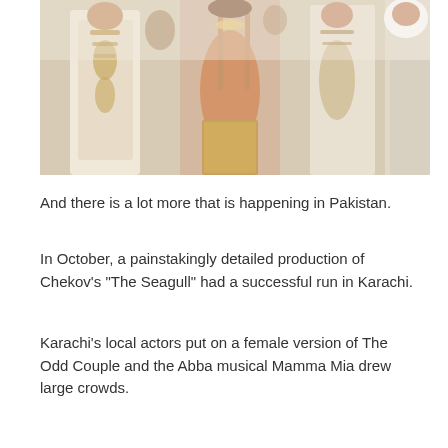[Figure (photo): Group of people in ornate South Asian attire, including embroidered white and gold clothing; one person shows a backless dress; photographed at a fashion or cultural event.]
And there is a lot more that is happening in Pakistan.
In October, a painstakingly detailed production of Chekov's "The Seagull" had a successful run in Karachi.
Karachi's local actors put on a female version of The Odd Couple and the Abba musical Mamma Mia drew large crowds.
An art exhibit opened recently in Islamabad to portray the effects of recent events on Pakistani psyche. Using the snake skin as a symbol of ongoing terror in the country, artist Haleem Khan has used the metaphor of a venomous snake to portray the violence that confronts people.